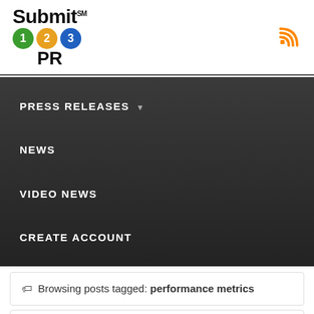[Figure (logo): Submit 123 PR logo with colored numbered circles and RSS icon]
PRESS RELEASES ▾
NEWS
VIDEO NEWS
CREATE ACCOUNT
Browsing posts tagged: performance metrics
Goodway Group Develops Algorithm to Manage